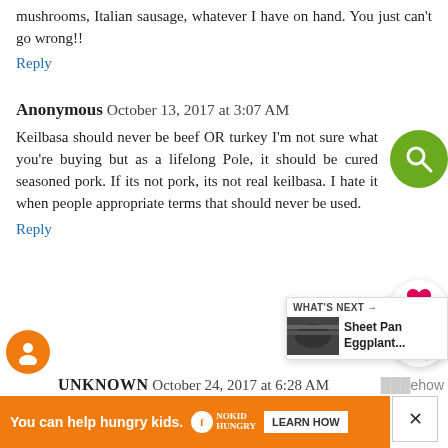mushrooms, Italian sausage, whatever I have on hand. You just can't go wrong!!
Reply
Anonymous October 13, 2017 at 3:07 AM
Keilbasa should never be beef OR turkey I'm not sure what you're buying but as a lifelong Pole, it should be cured seasoned pork. If its not pork, its not real keilbasa. I hate it when people appropriate terms that should never be used.
Reply
UNKNOWN October 24, 2017 at 6:28 AM